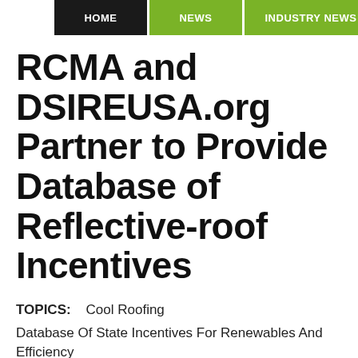HOME | NEWS | INDUSTRY NEWS
RCMA and DSIREUSA.org Partner to Provide Database of Reflective-roof Incentives
TOPICS:   Cool Roofing
Database Of State Incentives For Renewables And Efficiency
DSIRE   Energy Efficiency   RCMA   Rebates   Renewable Energy
Roof Coatings Manufacturers Association   Roofing Tax Incentives